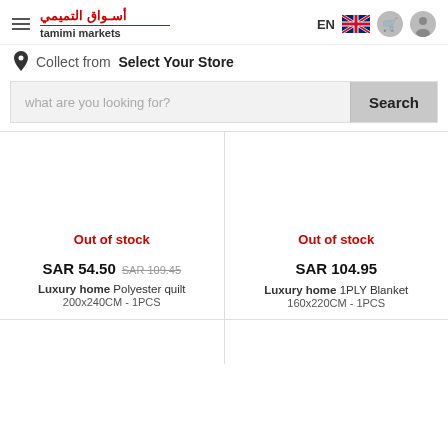Tamimi Markets - header with logo, EN language selector, cart and user icons
Collect from  Select Your Store
what are you looking for?  Search
Out of stock
SAR 54.50  SAR 109.45
Luxury home Polyester quilt 200x240CM - 1PCS
Out of stock
SAR 104.95
Luxury home 1PLY Blanket 160x220CM - 1PCS